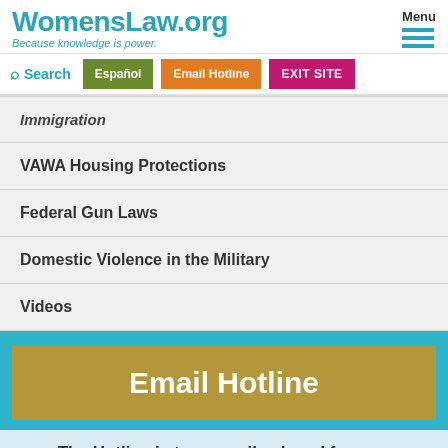WomensLaw.org — Because knowledge is power.
Immigration
VAWA Housing Protections
Federal Gun Laws
Domestic Violence in the Military
Videos
[Figure (screenshot): Email Hotline button in gold/olive on teal background]
The Hotline is temporarily closed for new